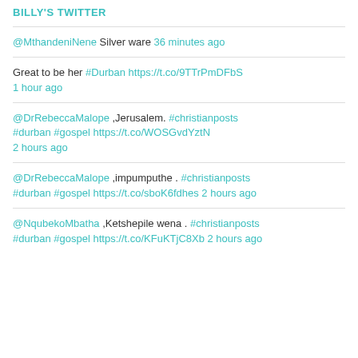BILLY'S TWITTER
@MthandeniNene Silver ware 36 minutes ago
Great to be her #Durban https://t.co/9TTrPmDFbS 1 hour ago
@DrRebeccaMalope ,Jerusalem. #christianposts #durban #gospel https://t.co/WOSGvdYztN 2 hours ago
@DrRebeccaMalope ,impumputhe . #christianposts #durban #gospel https://t.co/sboK6fdhes 2 hours ago
@NqubekoMbatha ,Ketshepile wena . #christianposts #durban #gospel https://t.co/KFuKTjC8Xb 2 hours ago